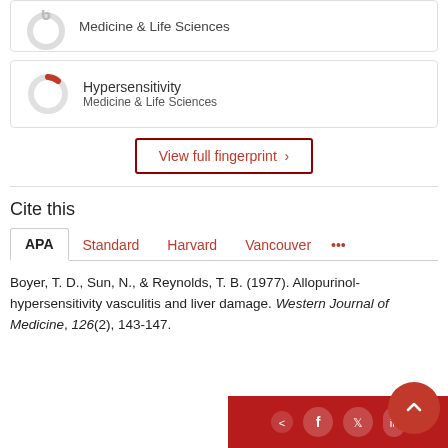[Figure (donut-chart): Partial donut chart icon for Medicine & Life Sciences item (top, cropped)]
Medicine & Life Sciences
[Figure (donut-chart): Donut chart with small red segment, labeled Hypersensitivity]
Hypersensitivity
Medicine & Life Sciences
View full fingerprint ›
Cite this
APA  Standard  Harvard  Vancouver  ...
Boyer, T. D., Sun, N., & Reynolds, T. B. (1977). Allopurinol-hypersensitivity vasculitis and liver damage. Western Journal of Medicine, 126(2), 143-147.